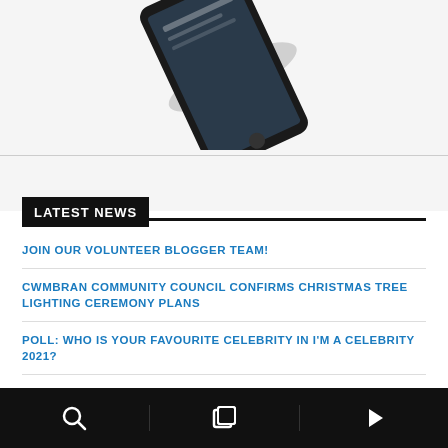[Figure (photo): A smartphone/tablet device shown at an angle from above, partially visible at top of page]
LATEST NEWS
JOIN OUR VOLUNTEER BLOGGER TEAM!
CWMBRAN COMMUNITY COUNCIL CONFIRMS CHRISTMAS TREE LIGHTING CEREMONY PLANS
POLL: WHO IS YOUR FAVOURITE CELEBRITY IN I'M A CELEBRITY 2021?
TORFAEN COUNCIL TO HOST EVENT TO CELEBRATE AND SUPPORT CARERS